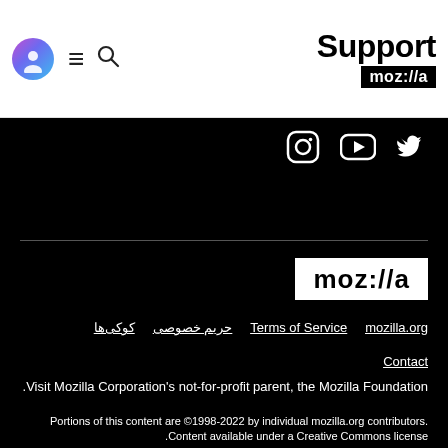Support moz://a
[Figure (logo): Social media icons: Instagram, YouTube, Twitter on black background]
[Figure (logo): Mozilla logo: moz://a in black text on white background]
کوکی‌ها   حریم خصوصی   Terms of Service   mozilla.org
Contact
Visit Mozilla Corporation's not-for-profit parent, the Mozilla Foundation.
Portions of this content are ©1998-2022 by individual mozilla.org contributors. Content available under a Creative Commons license.